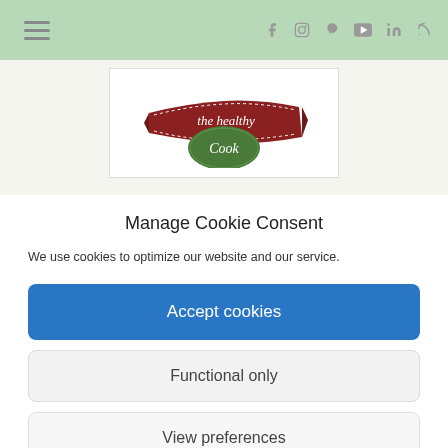[Figure (screenshot): Website header with hamburger menu icon on the left and social media icons (Facebook, Instagram, Pinterest, YouTube, LinkedIn, RSS) on the right, on a light green background. Below is a logo for 'the healthy Cook' with a banner and green emblem.]
Manage Cookie Consent
We use cookies to optimize our website and our service.
Accept cookies
Functional only
View preferences